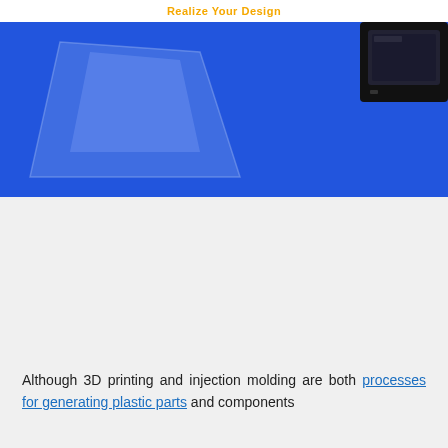Realize Your Design
[Figure (photo): Blue background product photo showing a translucent plastic part (funnel/cone shape) on the left and a dark electronic device on the upper right corner]
Share
[Figure (infographic): Four social media share buttons: Facebook (dark blue), Pinterest (red), Twitter (light blue), LinkedIn (teal)]
Although 3D printing and injection molding are both processes for generating plastic parts and components